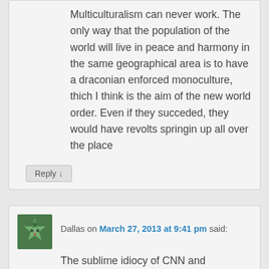Multiculturalism can never work. The only way that the population of the world will live in peace and harmony in the same geographical area is to have a draconian enforced monoculture, thich I think is the aim of the new world order. Even if they succeded, they would have revolts springin up all over the place
Reply ↓
Dallas on March 27, 2013 at 9:41 pm said:
The sublime idiocy of CNN and